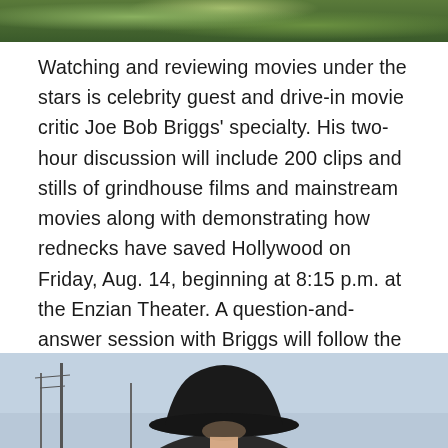[Figure (photo): Top portion of an outdoor image with green foliage/plants visible]
Watching and reviewing movies under the stars is celebrity guest and drive-in movie critic Joe Bob Briggs' specialty. His two-hour discussion will include 200 clips and stills of grindhouse films and mainstream movies along with demonstrating how rednecks have saved Hollywood on Friday, Aug. 14, beginning at 8:15 p.m. at the Enzian Theater. A question-and-answer session with Briggs will follow the presentation. The event is on standby. To attend this event, a standby line will form at the Enzian Theater prior to the screening. Once all badge and ticket holders have been seated, then the theater will sell any remaining $35 tickets.
[Figure (photo): Bottom portion showing a person wearing a black cowboy hat against a blue sky background with poles/structures visible]